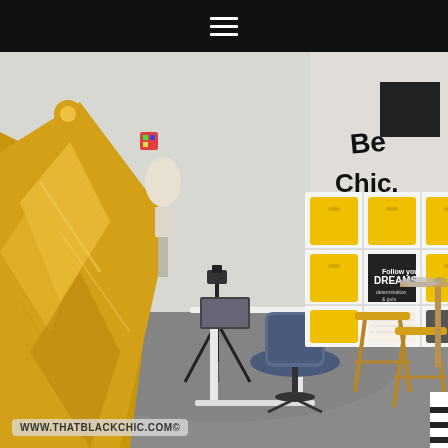≡ (hamburger menu icon)
[Figure (photo): Interior of a stylish studio/workspace. On the left is a gold metallic fabric or dress hanging from a stand. A white dress form/mannequin is visible in the background. A white standing desk and black camera tripod are in the center-left area. A white shelving unit with yellow storage cube bins (6 cubes visible with yellow boxes) sits in the background center, with a motivational sign reading 'Follow your DREAMS'. A navy blue swivel chair is in front of the shelving unit. On the right side are wooden bar stools with yellow seats next to a tall wooden table. The wall on the right has black lettering 'Be Chic.' The floor is gray painted concrete.]
WWW.THATBLACKCHIC.COM©